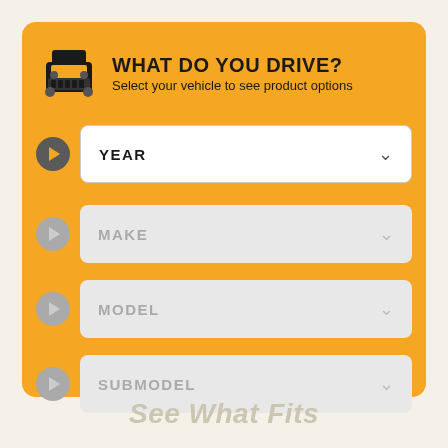WHAT DO YOU DRIVE?
Select your vehicle to see product options
YEAR
MAKE
MODEL
SUBMODEL
See What Fits